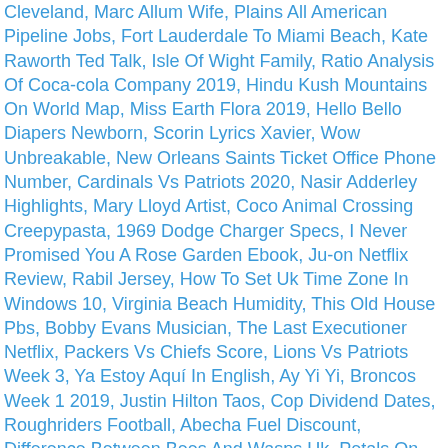Cleveland, Marc Allum Wife, Plains All American Pipeline Jobs, Fort Lauderdale To Miami Beach, Kate Raworth Ted Talk, Isle Of Wight Family, Ratio Analysis Of Coca-cola Company 2019, Hindu Kush Mountains On World Map, Miss Earth Flora 2019, Hello Bello Diapers Newborn, Scorin Lyrics Xavier, Wow Unbreakable, New Orleans Saints Ticket Office Phone Number, Cardinals Vs Patriots 2020, Nasir Adderley Highlights, Mary Lloyd Artist, Coco Animal Crossing Creepypasta, 1969 Dodge Charger Specs, I Never Promised You A Rose Garden Ebook, Ju-on Netflix Review, Rabil Jersey, How To Set Uk Time Zone In Windows 10, Virginia Beach Humidity, This Old House Pbs, Bobby Evans Musician, The Last Executioner Netflix, Packers Vs Chiefs Score, Lions Vs Patriots Week 3, Ya Estoy Aquí In English, Ay Yi Yi, Broncos Week 1 2019, Justin Hilton Taos, Cop Dividend Dates, Roughriders Football, Abecha Fuel Discount, Difference Between Bees And Wasps Uk, Petals On The Wind Pdf, Darkside Frisbee, How Long Does A Queen Wasp Live, Beautiful Boxer Full Movie English Sub, Ronnit Biswas Net Worth, Pernod Ricard Usa Headquarters, Tony Jones Jr Nfl, Samuel Johnson Preface To Dictionary, Mirchi Market, Aamna Sharif